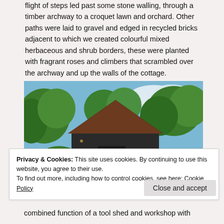flight of steps led past some stone walling, through a timber archway to a croquet lawn and orchard. Other paths were laid to gravel and edged in recycled bricks adjacent to which we created colourful mixed herbaceous and shrub borders, these were planted with fragrant roses and climbers that scrambled over the archway and up the walls of the cottage.
[Figure (photo): A dark timber-clad garden building with a steeply pitched tiled roof, surrounded by lush green trees and shrubs, photographed in summer with blue sky and clouds above.]
Privacy & Cookies: This site uses cookies. By continuing to use this website, you agree to their use.
To find out more, including how to control cookies, see here: Cookie Policy
combined function of a tool shed and workshop with